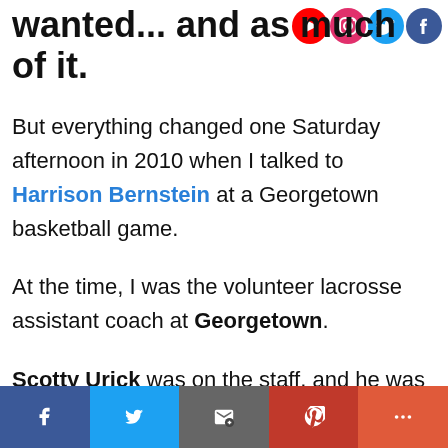essentially eat whatever I wanted... and as much of it.
But everything changed one Saturday afternoon in 2010 when I talked to Harrison Bernstein at a Georgetown basketball game.
At the time, I was the volunteer lacrosse assistant coach at Georgetown.
Scotty Urick was on the staff, and he was buds with Harrison
Social share bar: Facebook, Twitter, Email, Pinterest, More